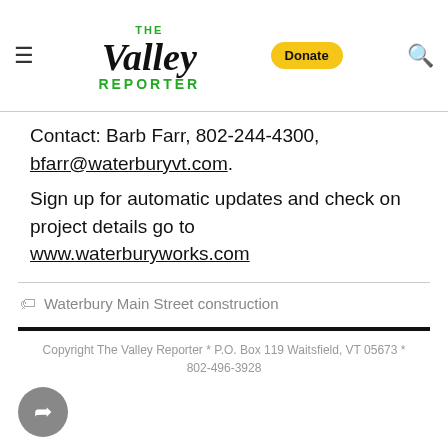[Figure (logo): The Valley Reporter newspaper logo with hamburger menu icon on left, logo in center (THE in green, Valley in cursive black, REPORTER in green bold), Donate button in yellow, and search icon on right]
Contact: Barb Farr, 802-244-4300, bfarr@waterburyvt.com.
Sign up for automatic updates and check on project details go to www.waterburyworks.com
Waterbury Main Street construction
Copyright The Valley Reporter * P.O. Box 119 Waitsfield, VT 05673 * 802-496-3928